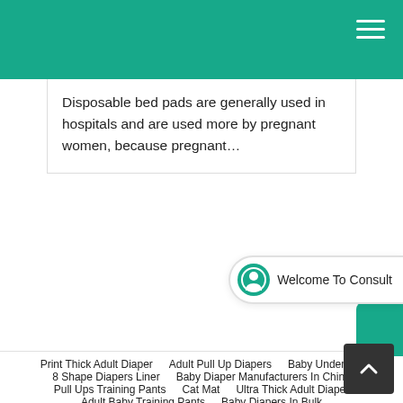Disposable bed pads are generally used in hospitals and are used more by pregnant women, because pregnant…
Print Thick Adult Diaper
Adult Pull Up Diapers
Baby Underpad
8 Shape Diapers Liner
Baby Diaper Manufacturers In China
Pull Ups Training Pants
Cat Mat
Ultra Thick Adult Diaper
Adult Baby Training Pants
Baby Diapers In Bulk
Baby Diaper Wholesale Usa
Pee Pads
Wholesale Baby Diapers Suppliers
Japanese Diapers Oem
Disposable Cotton Underwear
Diaper Ins…
Adult Incontipence Pants